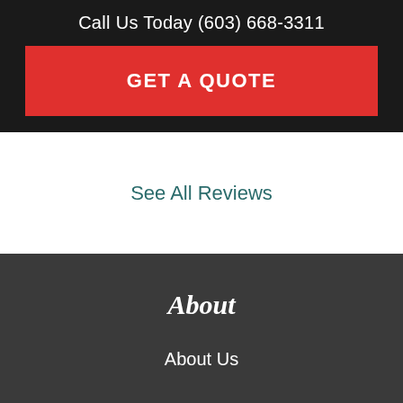Call Us Today (603) 668-3311
GET A QUOTE
See All Reviews
About
About Us
Meet Our Staff